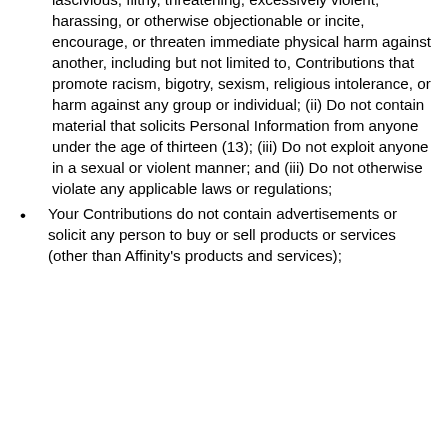lascivious, filthy, threatening, excessively violent, harassing, or otherwise objectionable or incite, encourage, or threaten immediate physical harm against another, including but not limited to, Contributions that promote racism, bigotry, sexism, religious intolerance, or harm against any group or individual; (ii) Do not contain material that solicits Personal Information from anyone under the age of thirteen (13); (iii) Do not exploit anyone in a sexual or violent manner; and (iii) Do not otherwise violate any applicable laws or regulations;
Your Contributions do not contain advertisements or solicit any person to buy or sell products or services (other than Affinity's products and services);